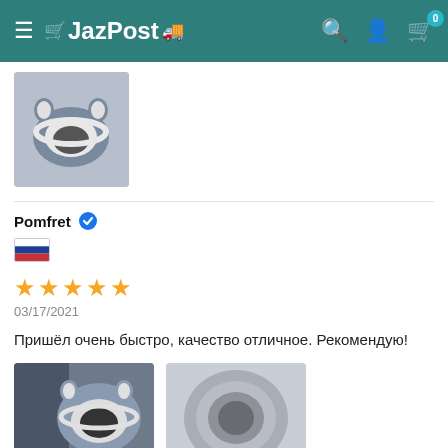JazPost — navigation header with logo, search, account, and cart icons
[Figure (photo): Product thumbnail photo of a grey cat bed with ear-shaped protrusions]
Pomfret (verified buyer)
[Figure (other): Russian flag icon]
[Figure (other): 5-star rating (5 out of 5 stars)]
03/17/2021
Пришёл очень быстро, качество отличное. Рекомендую!
[Figure (photo): Review photo 1: grey cat bed viewed from front showing oval opening]
[Figure (photo): Review photo 2: grey cat bed viewed from top/back]